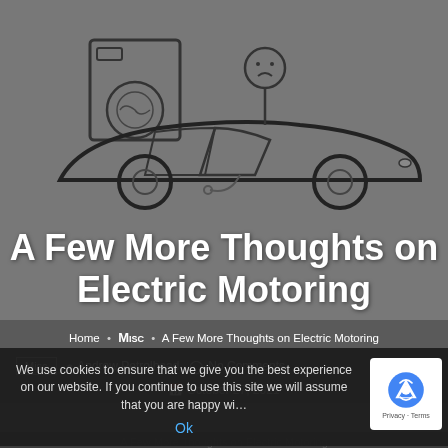[Figure (illustration): Stick figure with sad face sitting in a sports car outline, with a washing machine drawn next to the car. Minimalist line art style on grey background.]
A Few More Thoughts on Electric Motoring
Home • Misc • A Few More Thoughts on Electric Motoring
Misc   Andrew Petrolhead   No Comments   October 27, 2021
We use cookies to ensure that we give you the best experience on our website. If you continue to use this site we will assume that you are happy wi...
Ok
A Few More Thoughts on Electric Motoring